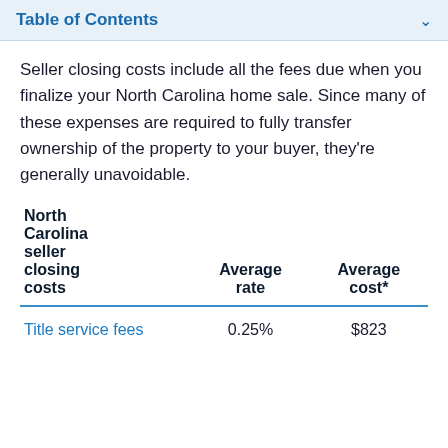Table of Contents
Seller closing costs include all the fees due when you finalize your North Carolina home sale. Since many of these expenses are required to fully transfer ownership of the property to your buyer, they're generally unavoidable.
| North Carolina seller closing costs | Average rate | Average cost* |
| --- | --- | --- |
| Title service fees | 0.25% | $823 |